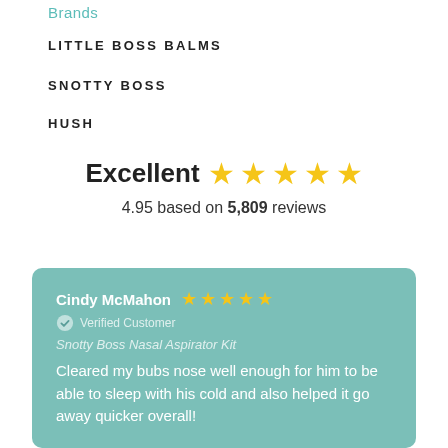Brands
LITTLE BOSS BALMS
SNOTTY BOSS
HUSH
Excellent ★★★★★
4.95 based on 5,809 reviews
Cindy McMahon ★★★★★ Verified Customer Snotty Boss Nasal Aspirator Kit Cleared my bubs nose well enough for him to be able to sleep with his cold and also helped it go away quicker overall!